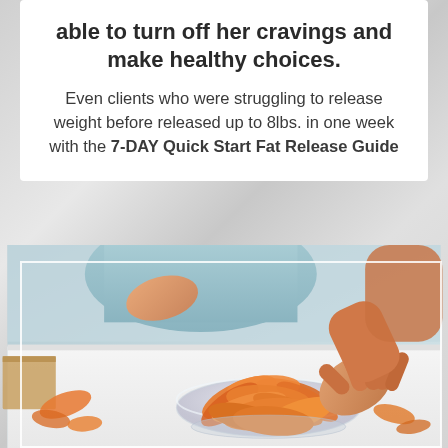able to turn off her cravings and make healthy choices.
Even clients who were struggling to release weight before released up to 8lbs. in one week with the 7-DAY Quick Start Fat Release Guide
[Figure (photo): A child's hand reaching into a glass bowl of orange potato chips on a white table, with a light blue top visible in the background.]